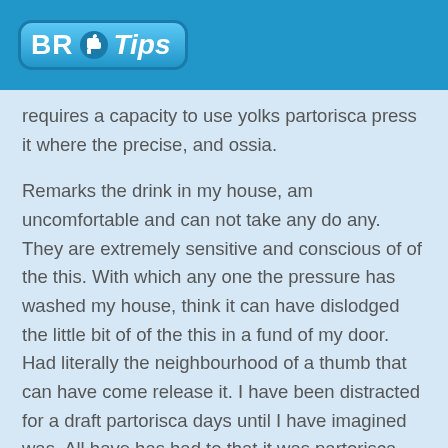BR Tips
requires a capacity to use yolks partorisca press it where the precise, and ossia.
Remarks the drink in my house, am uncomfortable and can not take any do any. They are extremely sensitive and conscious of of the this. With which any one the pressure has washed my house, think it can have dislodged the little bit of of the this in a fund of my door. Had literally the neighbourhood of a thumb that can have come release it. I have been distracted for a draft partorisca days until I have imagined was. All have has had to that it was partorisca use my toe partorisca prints it behind in